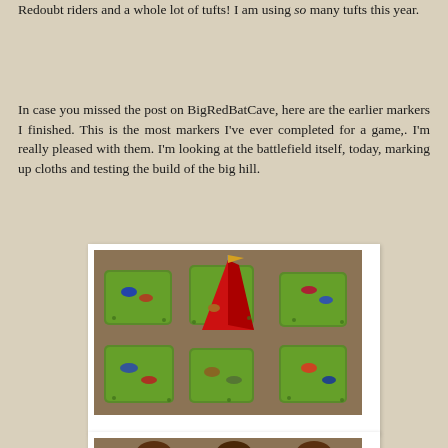Redoubt riders and a whole lot of tufts! I am using so many tufts this year.
In case you missed the post on BigRedBatCave, here are the earlier markers I finished. This is the most markers I've ever completed for a game,. I'm really pleased with them. I'm looking at the battlefield itself, today, marking up cloths and testing the build of the big hill.
[Figure (photo): Photo of painted miniature wargame casualty markers on green tufted bases, with a red tent/flag marker in the center, arranged on a brown surface.]
[Figure (photo): Partially visible photo of painted miniature cavalry figures on bases, cut off at the bottom of the page.]